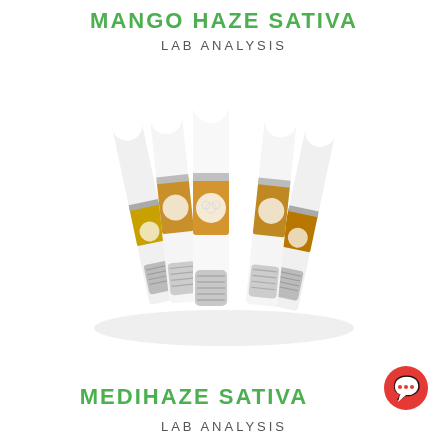MANGO HAZE SATIVA
LAB ANALYSIS
[Figure (photo): Group of cannabis vape cartridges with white tops, amber/gold bodies with decorative circular pattern labels, and silver threaded bases, arranged in a fan/arc formation on a white background.]
MEDIHAZE SATIVA
LAB ANALYSIS